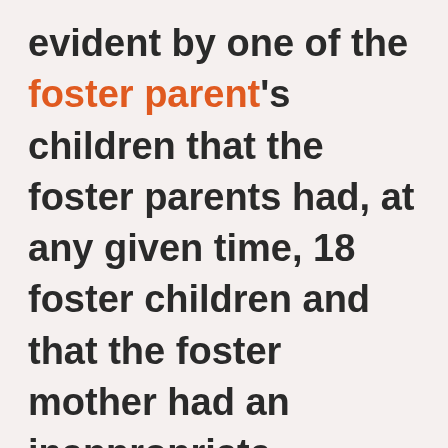evident by one of the foster parent's children that the foster parents had, at any given time, 18 foster children and that the foster mother had an inappropriate relationship with the caseworker.

In the courtroom, the juvenile judge, acted as though she was shocked and said the two girls